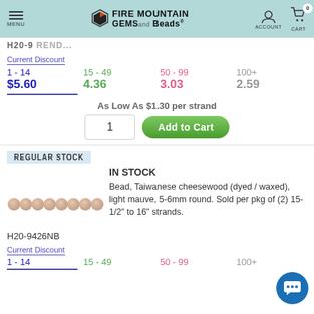Fire Mountain Gems and Beads — MENU | ACCOUNT | CART 0
Current Discount
| 1 - 14 | 15 - 49 | 50 - 99 | 100+ |
| --- | --- | --- | --- |
| $5.60 | 4.36 | 3.03 | 2.59 |
As Low As $1.30 per strand
REGULAR STOCK
IN STOCK
Bead, Taiwanese cheesewood (dyed / waxed), light mauve, 5-6mm round. Sold per pkg of (2) 15-1/2" to 16" strands.
[Figure (photo): Row of light mauve round wooden beads, approximately 9 beads shown in a strand]
H20-9426NB
Current Discount
1 - 14   15 - 49   50 - 99   100+